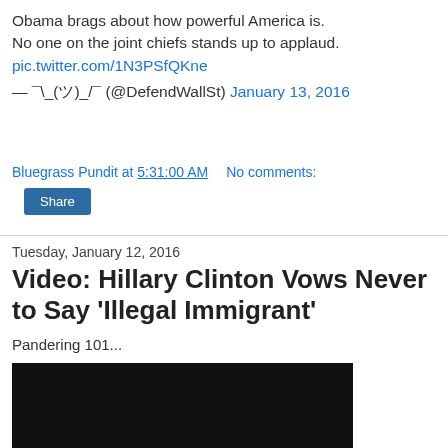Obama brags about how powerful America is. No one on the joint chiefs stands up to applaud. pic.twitter.com/1N3PSfQKne — ¯\_(ツ)_/¯ (@DefendWallSt) January 13, 2016
Bluegrass Pundit at 5:31:00 AM    No comments:
Share
Tuesday, January 12, 2016
Video: Hillary Clinton Vows Never to Say 'Illegal Immigrant'
Pandering 101...
[Figure (photo): Dark/black video thumbnail]